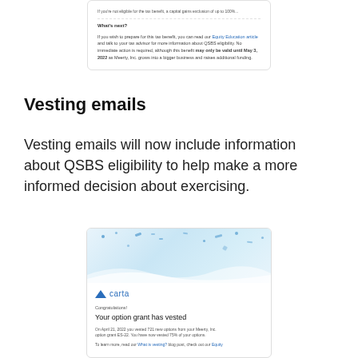[Figure (screenshot): Partial screenshot of a card/modal showing 'What's next?' section with text about QSBS eligibility and a Equity Education article link, with bold date May 3, 2022]
Vesting emails
Vesting emails will now include information about QSBS eligibility to help make a more informed decision about exercising.
[Figure (screenshot): Screenshot of a Carta email: 'Congratulations! Your option grant has vested. On April 21, 2022 you vested 721 new options from your Meerty, Inc. option grant ES-22. You have now vested 75% of your options. To learn more, read our What is vesting? blog post, check out our Equity Education article...']